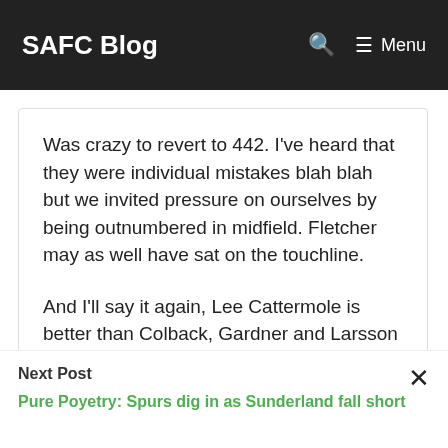SAFC Blog   🔍   ☰ Menu
Was crazy to revert to 442. I've heard that they were individual mistakes blah blah but we invited pressure on ourselves by being outnumbered in midfield. Fletcher may as well have sat on the touchline.
And I'll say it again, Lee Cattermole is better than Colback, Gardner and Larsson at driving the team forward. Wouldn't be surprised at all to see us go
Next Post
Pure Poyetry: Spurs dig in as Sunderland fall short